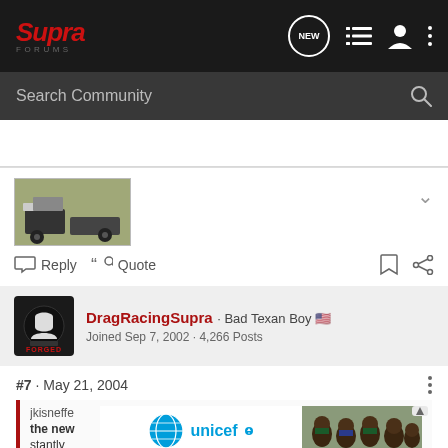Supra Forums - Navigation bar with logo, NEW button, list icon, user icon, menu icon
Search Community
[Figure (photo): Thumbnail image of a vehicle, possibly a drag racing car, dark colored]
Reply  Quote
DragRacingSupra · Bad Texan Boy 🇺🇸
Joined Sep 7, 2002 · 4,266 Posts
#7 · May 21, 2004
jkisneffe
the new
stantly
[Figure (screenshot): Unicef advertisement showing children]